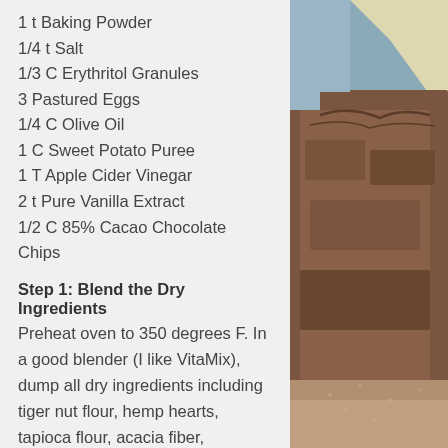1 t Baking Powder
1/4 t Salt
1/3 C Erythritol Granules
3 Pastured Eggs
1/4 C Olive Oil
1 C Sweet Potato Puree
1 T Apple Cider Vinegar
2 t Pure Vanilla Extract
1/2 C 85% Cacao Chocolate Chips
Step 1: Blend the Dry Ingredients
Preheat oven to 350 degrees F. In a good blender (I like VitaMix), dump all dry ingredients including tiger nut flour, hemp hearts, tapioca flour, acacia fiber, cinnamon, ginger, clove, baking powder, salt, and erythritol. Blend until very finely ground. Set aside.
[Figure (photo): Photo of baked chocolate bread or brownies with cracked top surface, shown on a blue background with a light-colored cloth or paper in the upper right]